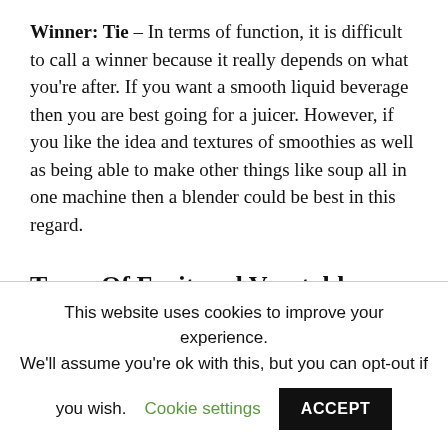Winner: Tie – In terms of function, it is difficult to call a winner because it really depends on what you're after. If you want a smooth liquid beverage then you are best going for a juicer. However, if you like the idea and textures of smoothies as well as being able to make other things like soup all in one machine then a blender could be best in this regard.
Types Of Fruit and Vegetables They Can Take
This website uses cookies to improve your experience. We'll assume you're ok with this, but you can opt-out if you wish. Cookie settings ACCEPT